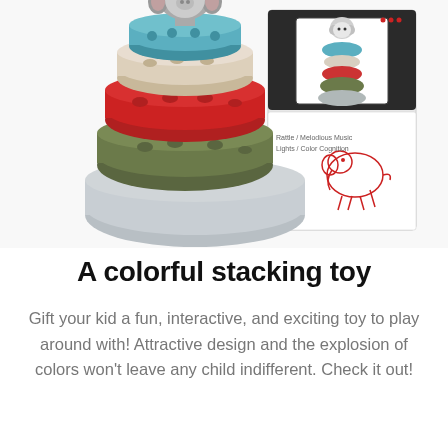[Figure (photo): A colorful stacking ring toy assembled next to its product packaging box. The toy features a monkey-faced topper and rings in teal/blue, cream/beige, red, and olive green colors on a gray base. The box shows the same toy with an elephant graphic and text about rattling, melodious music, lights, and color cognition.]
A colorful stacking toy
Gift your kid a fun, interactive, and exciting toy to play around with! Attractive design and the explosion of colors won't leave any child indifferent. Check it out!